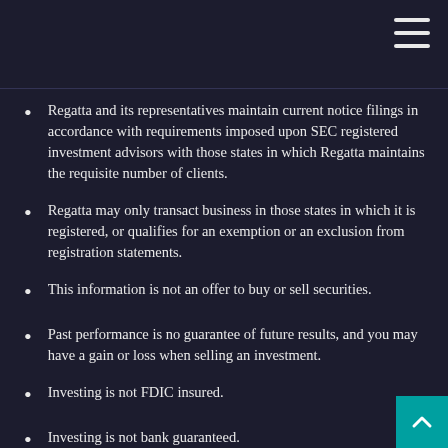Regatta and its representatives maintain current notice filings in accordance with requirements imposed upon SEC registered investment advisors with those states in which Regatta maintains the requisite number of clients.
Regatta may only transact business in those states in which it is registered, or qualifies for an exemption or an exclusion from registration statements.
This information is not an offer to buy or sell securities.
Past performance is no guarantee of future results, and you may have a gain or loss when selling an investment.
Investing is not FDIC insured.
Investing is not bank guaranteed.
No current or prospective client should assume that the future performance of any specific investment, investment strategy (including the investments and/or investment strategies recommended and/or purchased by advisor), or product made reference to directly or indirectly on this web site, will be profitable or equal to